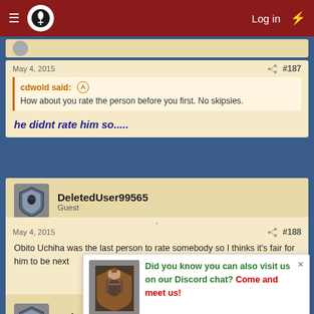Log in
May 4, 2015   #187
cdwold said: How about you rate the person before you first. No skipsies.
he didnt rate him so.....
DeletedUser99565
Guest
May 4, 2015   #188
Obito Uchiha was the last person to rate somebody so I thinks it's fair for him to be next
Ash Ketchum
Guest
Did you know you can also visit us on our Discord chat? Come and meet us!